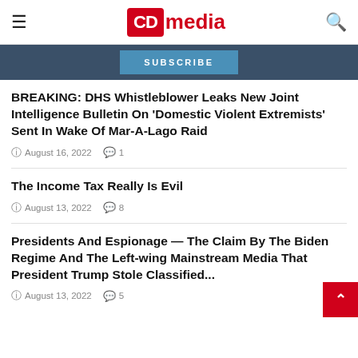CD media
SUBSCRIBE
BREAKING: DHS Whistleblower Leaks New Joint Intelligence Bulletin On 'Domestic Violent Extremists' Sent In Wake Of Mar-A-Lago Raid
August 16, 2022  1
The Income Tax Really Is Evil
August 13, 2022  8
Presidents And Espionage — The Claim By The Biden Regime And The Left-wing Mainstream Media That President Trump Stole Classified...
August 13, 2022  5